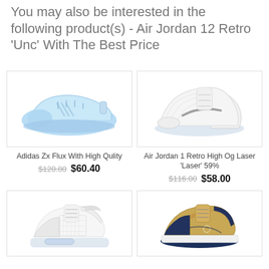You may also be interested in the following product(s) - Air Jordan 12 Retro 'Unc' With The Best Price
[Figure (photo): Adidas Zx Flux light blue sneaker on white background]
Adidas Zx Flux With High Qulity
$120.80  $60.40
[Figure (photo): Air Jordan 1 Retro High Og Laser 'Laser' white/grey sneaker on white background]
Air Jordan 1 Retro High Og Laser 'Laser' 59%
$116.00  $58.00
[Figure (photo): Air Jordan 4 white/chrome sneaker on white background]
[Figure (photo): Air Jordan 7 tan/navy sneaker on white background]